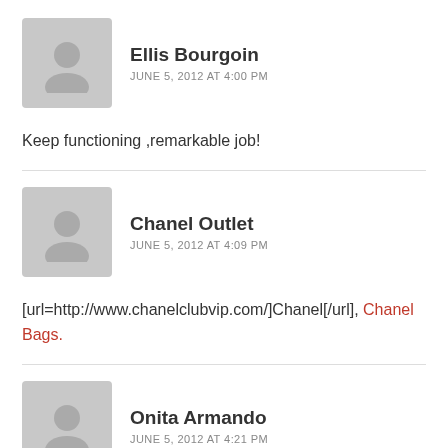[Figure (illustration): Generic grey avatar silhouette for Ellis Bourgoin]
Ellis Bourgoin
JUNE 5, 2012 AT 4:00 PM
Keep functioning ,remarkable job!
[Figure (illustration): Generic grey avatar silhouette for Chanel Outlet]
Chanel Outlet
JUNE 5, 2012 AT 4:09 PM
[url=http://www.chanelclubvip.com/]Chanel[/url], Chanel Bags.
[Figure (illustration): Generic grey avatar silhouette for Onita Armando]
Onita Armando
JUNE 5, 2012 AT 4:21 PM
hello there and thank you for your information – I have definitely picked up something new from right here. I did however expertise several technical issues using this website.